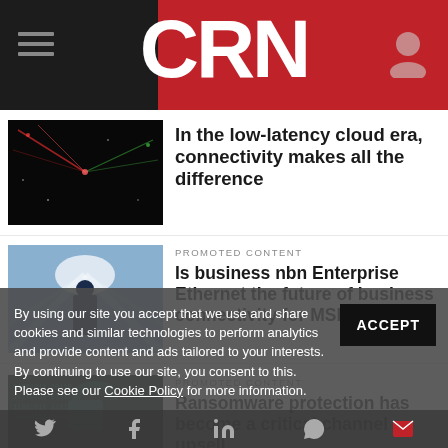CRN
In the low-latency cloud era, connectivity makes all the difference
PROMOTED CONTENT
Is business nbn Enterprise Ethernet the future of business connectivity for MSPs?
PROMOTED CONTENT
Ransomware protection has become a critical channel upsell
By using our site you accept that we use and share cookies and similar technologies to perform analytics and provide content and ads tailored to your interests. By continuing to use our site, you consent to this. Please see our Cookie Policy for more information.